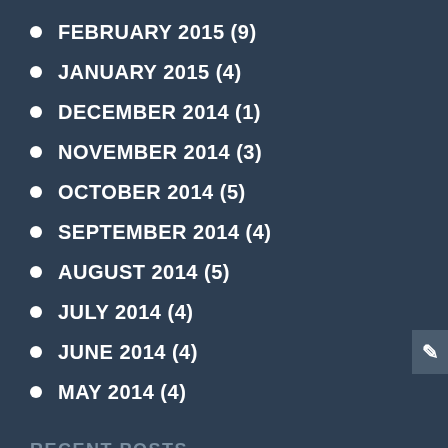FEBRUARY 2015 (9)
JANUARY 2015 (4)
DECEMBER 2014 (1)
NOVEMBER 2014 (3)
OCTOBER 2014 (5)
SEPTEMBER 2014 (4)
AUGUST 2014 (5)
JULY 2014 (4)
JUNE 2014 (4)
MAY 2014 (4)
RECENT POSTS
MISREADING ROMANTIC SIGNALS
ARE MEN OR WOMEN MORE LIKELY TO FACE BU...